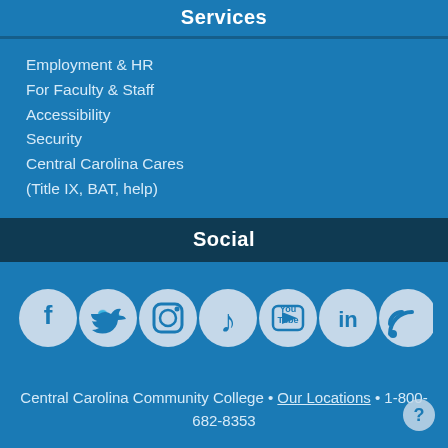Services
Employment & HR
For Faculty & Staff
Accessibility
Security
Central Carolina Cares (Title IX, BAT, help)
Social
[Figure (infographic): Row of 7 social media icon circles: Facebook, Twitter, Instagram, TikTok, YouTube, LinkedIn, RSS feed]
Central Carolina Community College • Our Locations • 1-800-682-8353